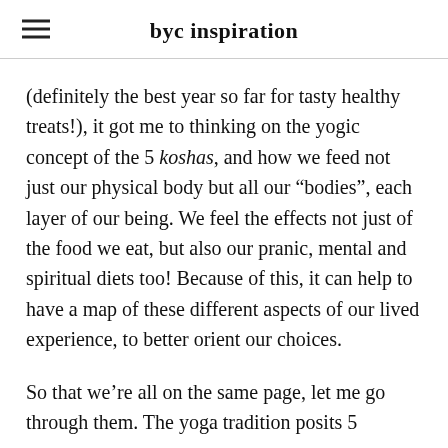byc inspiration
(definitely the best year so far for tasty healthy treats!), it got me to thinking on the yogic concept of the 5 koshas, and how we feed not just our physical body but all our “bodies”, each layer of our being. We feel the effects not just of the food we eat, but also our pranic, mental and spiritual diets too! Because of this, it can help to have a map of these different aspects of our lived experience, to better orient our choices.
So that we’re all on the same page, let me go through them. The yoga tradition posits 5